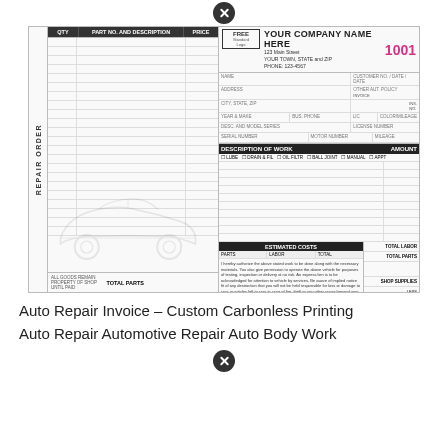[Figure (illustration): Auto repair invoice form — Custom Carbonless Printing template showing a repair order with parts list on left, company header with FREE standard logo box, invoice number 1001, customer info fields, description of work section, estimated costs table, authorization text, and TOTAL/THANK YOU section. A watermark car graphic is overlaid on the parts panel.]
Auto Repair Invoice – Custom Carbonless Printing
Auto Repair Automotive Repair Auto Body Work